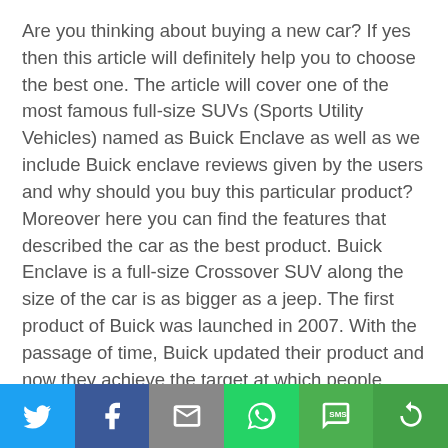Are you thinking about buying a new car? If yes then this article will definitely help you to choose the best one. The article will cover one of the most famous full-size SUVs (Sports Utility Vehicles) named as Buick Enclave as well as we include Buick enclave reviews given by the users and why should you buy this particular product?  Moreover here you can find the features that described the car as the best product. Buick Enclave is a full-size Crossover SUV along the size of the car is as bigger as a jeep. The first product of Buick was launched in 2007. With the passage of time, Buick updated their product and now they achieve the target at which people show huge love for this latest product. The specs and the features of this
[Figure (infographic): Social sharing bar with icons for Twitter, Facebook, Email/Envelope, WhatsApp, SMS, and More (circular arrow) buttons in a row at the bottom of the page]